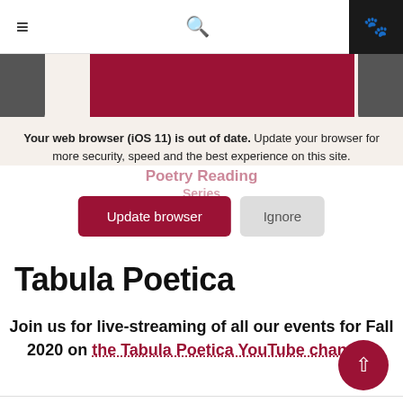Navigation bar with hamburger menu, search icon, and paw icon
[Figure (screenshot): Website screenshot showing top navigation bar with hamburger menu, search icon, dark paw icon button. Below: maroon/dark red image strip with partial images. Overlaid browser warning dialog on cream background.]
Your web browser (iOS 11) is out of date. Update your browser for more security, speed and the best experience on this site.
Poetry Reading
Series
Update browser
Ignore
Tabula Poetica
Join us for live-streaming of all our events for Fall 2020 on the Tabula Poetica YouTube channel!